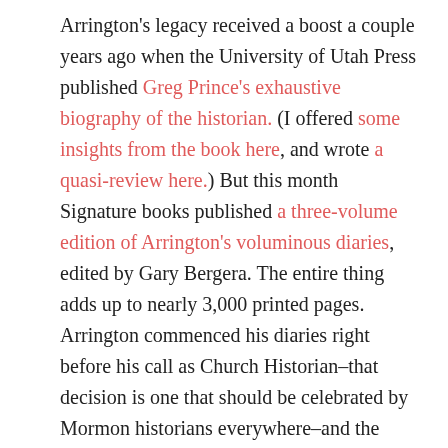Arrington's legacy received a boost a couple years ago when the University of Utah Press published Greg Prince's exhaustive biography of the historian. (I offered some insights from the book here, and wrote a quasi-review here.) But this month Signature books published a three-volume edition of Arrington's voluminous diaries, edited by Gary Bergera. The entire thing adds up to nearly 3,000 printed pages. Arrington commenced his diaries right before his call as Church Historian–that decision is one that should be celebrated by Mormon historians everywhere–and the records remained in-depth and detailed until the end of his tenure of the 1970s. After that, weekly letters through the